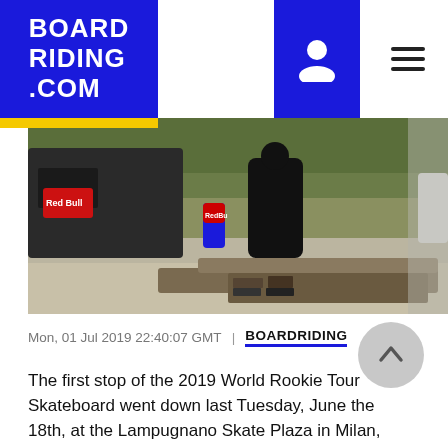BOARD RIDING .COM
[Figure (photo): Skateboarder performing a trick on a concrete ledge/rail at Lampugnano Skate Plaza in Milan, Italy, with Red Bull branding and a Red Bull vehicle visible in the background, surrounded by trees and other spectators.]
Mon, 01 Jul 2019 22:40:07 GMT | BOARDRIDING
The first stop of the 2019 World Rookie Tour Skateboard went down last Tuesday, June the 18th, at the Lampugnano Skate Plaza in Milan, Italy, and it has been a great success: Black Yeti is proud to get involved in a new adventure with the first 25 riders representing 5 nations.